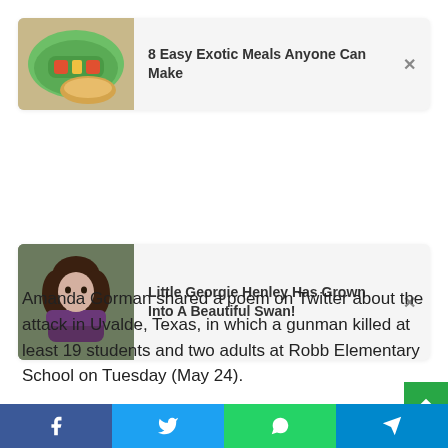[Figure (photo): Ad card with food wrap image and text: 8 Easy Exotic Meals Anyone Can Make]
[Figure (photo): Ad card with portrait of young woman (Georgie Henley) and text: Little Georgie Henley Has Grown Into A Beautiful Swan!]
Amanda Gorman shared a poem on Twitter about the attack in Uvalde, Texas, in which a gunman killed at least 19 students and two adults at Robb Elementary School on Tuesday (May 24).
“Schools seared to death. The truth is, an education under
[Figure (screenshot): Social share bar with Facebook, Twitter, WhatsApp, and Telegram icons]